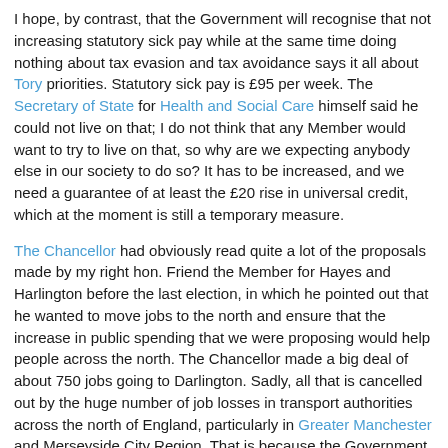I hope, by contrast, that the Government will recognise that not increasing statutory sick pay while at the same time doing nothing about tax evasion and tax avoidance says it all about Tory priorities. Statutory sick pay is £95 per week. The Secretary of State for Health and Social Care himself said he could not live on that; I do not think that any Member would want to try to live on that, so why are we expecting anybody else in our society to do so? It has to be increased, and we need a guarantee of at least the £20 rise in universal credit, which at the moment is still a temporary measure.
The Chancellor had obviously read quite a lot of the proposals made by my right hon. Friend the Member for Hayes and Harlington before the last election, in which he pointed out that he wanted to move jobs to the north and ensure that the increase in public spending that we were proposing would help people across the north. The Chancellor made a big deal of about 750 jobs going to Darlington. Sadly, all that is cancelled out by the huge number of job losses in transport authorities across the north of England, particularly in Greater Manchester and Merseyside City Region. That is because the Government have not provided them with the funding package to support transport systems that they have in London and other places. This degree of unfairness between the north and the south will continue, and the degree of unfairness between the richest and poorest in our society will increase under this Budget.